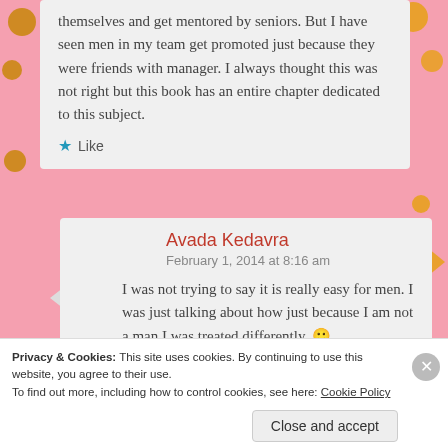themselves and get mentored by seniors. But I have seen men in my team get promoted just because they were friends with manager. I always thought this was not right but this book has an entire chapter dedicated to this subject.
Like
Avada Kedavra
February 1, 2014 at 8:16 am
I was not trying to say it is really easy for men. I was just talking about how just because I am not a man I was treated differently. 🙂
Privacy & Cookies: This site uses cookies. By continuing to use this website, you agree to their use.
To find out more, including how to control cookies, see here: Cookie Policy
Close and accept